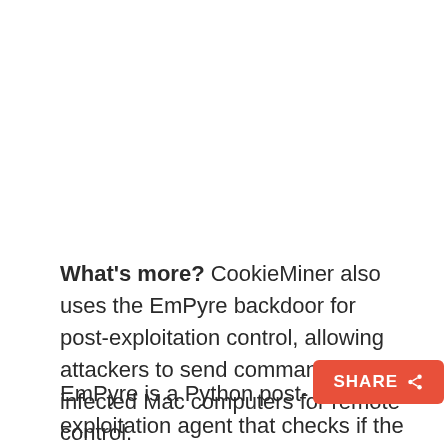What's more? CookieMiner also uses the EmPyre backdoor for post-exploitation control, allowing attackers to send commands to the infected Mac computers for remote control.
EmPyre is a Python post-exploitation agent that checks if the Little Snitch application firewall is running on the victim's machine and if it finds one, it will stop and exit.